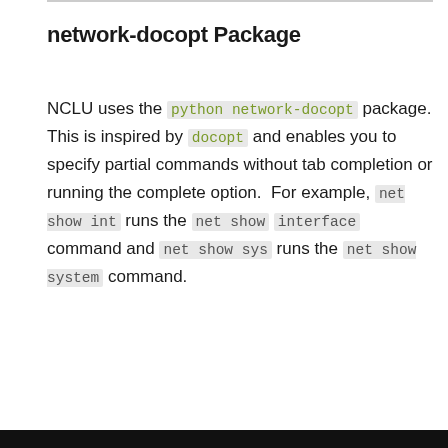network-docopt Package
NCLU uses the python network-docopt package. This is inspired by docopt and enables you to specify partial commands without tab completion or running the complete option. For example, net show int runs the net show interface command and net show sys runs the net show system command.